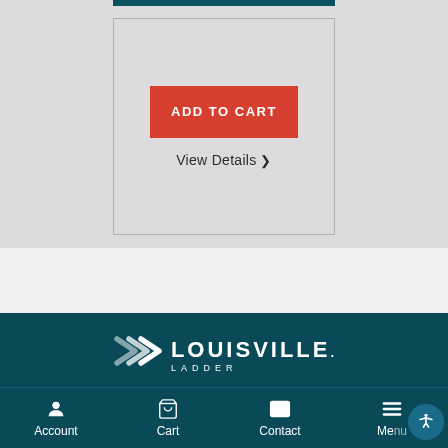[Figure (screenshot): Add to Cart button (red) with View Details link below it, inside a card box on a gray background]
ADD TO CART
View Details ❯
[Figure (logo): Louisville Ladder logo with white chevron arrows and text on teal background]
Account   Cart 0   Contact   Menu